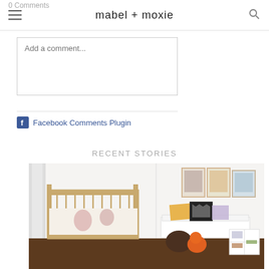mabel + moxie
0 Comments
Add a comment...
Facebook Comments Plugin
RECENT STORIES
[Figure (photo): Children's nursery room with a white wooden crib on the left, framed art prints on the wall, a white bench with colorful pillows, stuffed animals on the floor, and a white storage cube unit on the right.]